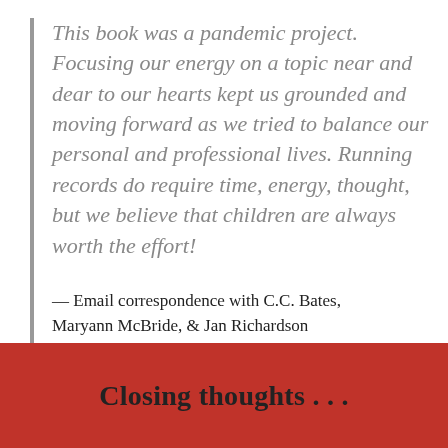This book was a pandemic project. Focusing our energy on a topic near and dear to our hearts kept us grounded and moving forward as we tried to balance our personal and professional lives. Running records do require time, energy, thought, but we believe that children are always worth the effort!
— Email correspondence with C.C. Bates, Maryann McBride, & Jan Richardson
Closing thoughts . . .